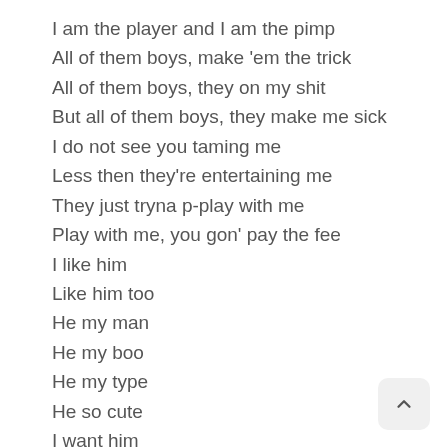I am the player and I am the pimp
All of them boys, make 'em the trick
All of them boys, they on my shit
But all of them boys, they make me sick
I do not see you taming me
Less then they're entertaining me
They just tryna p-play with me
Play with me, you gon' pay the fee
I like him
Like him too
He my man
He my boo
He my type
He so cute
I want him
And I want him too
I like him
Like him too